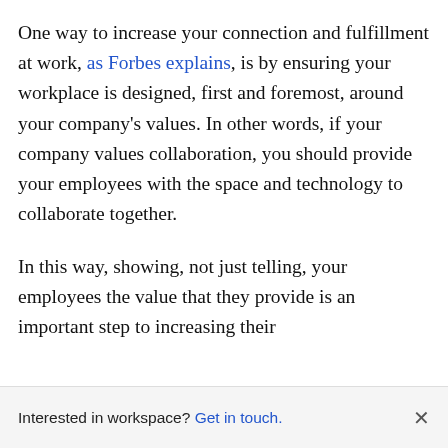One way to increase your connection and fulfillment at work, as Forbes explains, is by ensuring your workplace is designed, first and foremost, around your company's values. In other words, if your company values collaboration, you should provide your employees with the space and technology to collaborate together.
In this way, showing, not just telling, your employees the value that they provide is an important step to increasing their
Interested in workspace? Get in touch.